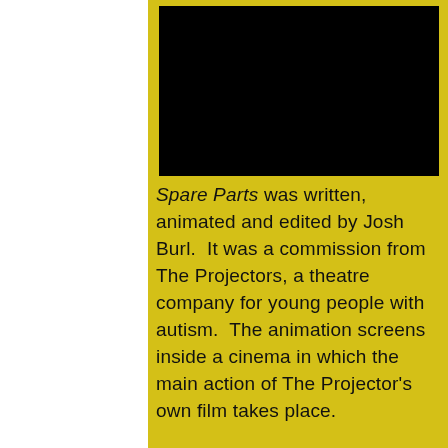[Figure (photo): Black rectangle representing a film/animation still or placeholder image for Spare Parts animation]
Spare Parts was written, animated and edited by Josh Burl.  It was a commission from The Projectors, a theatre company for young people with autism.  The animation screens inside a cinema in which the main action of The Projector's own film takes place.